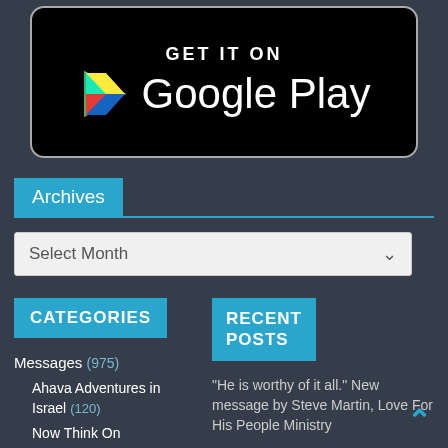[Figure (logo): Google Play Store badge — black rounded rectangle with Play Store triangle logo and text 'GET IT ON Google Play' in white on black background]
Archives
Select Month
CATEGORIES
RECENT POSTS
Messages (975)
Ahava Adventures in Israel (120)
Now Think On
“He is worthy of it all.” New message by Steve Martin, Love For His People Ministry